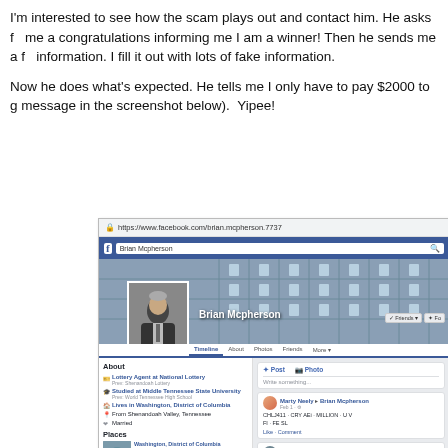I'm interested to see how the scam plays out and contact him. He asks for me a congratulations informing me I am a winner! Then he sends me a f information. I fill it out with lots of fake information.
Now he does what's expected. He tells me I only have to pay $2000 to g message in the screenshot below).  Yipee!
[Figure (screenshot): Screenshot of a Facebook profile page for 'Brian Mcpherson'. The profile shows a cover photo of what appears to be a stadium/arena, a profile picture of a man in a suit, and the profile name 'Brian Mcpherson'. The page shows About section with info including Lottery Agent at National Lottery, student at Middle Tennessee State University, lives in Washington District of Columbia, from Shenandoah Valley Tennessee, and Married. Places section shows Washington District of Columbia. Music section shows 93.9 WKYS radio station and Queen Latifah. The right column shows a post box and posts including one from Marty Neely to Brian Mcpherson and a photo post from Brian Mcpherson. The URL bar shows https://www.facebook.com/brian.mcpherson.7737]